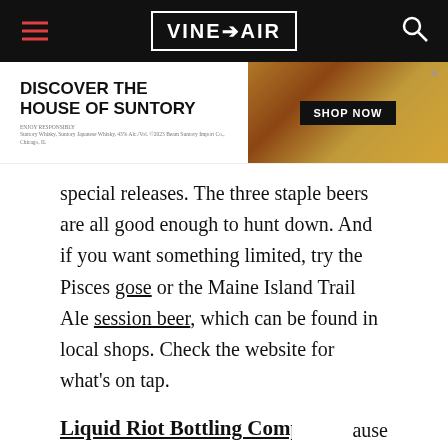VINEPAIR
[Figure (screenshot): Advertisement banner for House of Suntory with text 'DISCOVER THE HOUSE OF SUNTORY' and SHOP NOW button, featuring whisky bottle imagery]
special releases. The three staple beers are all good enough to hunt down. And if you want something limited, try the Pisces gose or the Maine Island Trail Ale session beer, which can be found in local shops. Check the website for what's on tap.
Liquid Riot Bottling Company
Situated right in the heart of Old Port, and it's a brew... cause
[Figure (screenshot): Advertisement banner for Grey Goose vodka with text 'STIR UP SOMETHING SIPPABLE' and LEARN MORE button]